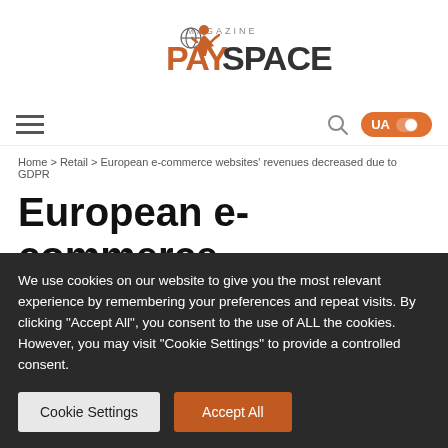[Figure (logo): PaySpace Magazine logo — stylized orange/dark text with a globe figure icon above]
Home > Retail > European e-commerce websites' revenues decreased due to GDPR
European e-commerce
We use cookies on our website to give you the most relevant experience by remembering your preferences and repeat visits. By clicking "Accept All", you consent to the use of ALL the cookies. However, you may visit "Cookie Settings" to provide a controlled consent.